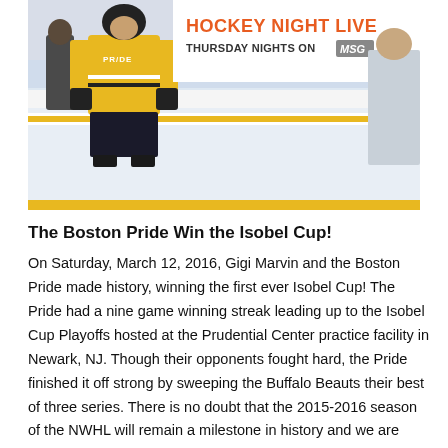[Figure (photo): Hockey player wearing a yellow Boston Pride jersey with 'PRIDE' text, standing on ice rink. Banner visible in background reads 'HOCKEY NIGHT LIVE / THURSDAY NIGHTS ON MSG'. Yellow stripe at bottom of image.]
The Boston Pride Win the Isobel Cup!
On Saturday, March 12, 2016, Gigi Marvin and the Boston Pride made history, winning the first ever Isobel Cup!  The Pride had a nine game winning streak leading up to the Isobel Cup Playoffs hosted at the Prudential Center practice facility in Newark, NJ.  Though their opponents fought hard, the Pride finished it off strong by sweeping the Buffalo Beauts their best of three series.  There is no doubt that the 2015-2016 season of the NWHL will remain a milestone in history and we are already looking forward to next season!  Congratulations